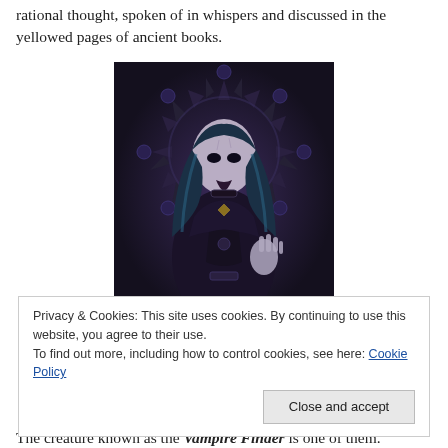rational thought, spoken of in whispers and discussed in the yellowed pages of ancient books.
[Figure (illustration): A gothic fantasy illustration of a pale woman with long blue-black hair, dark lips, ornate armor/corset, raising one hand in a gesture, set against a dark geometric spiked halo background with circular medallions.]
Privacy & Cookies: This site uses cookies. By continuing to use this website, you agree to their use.
To find out more, including how to control cookies, see here: Cookie Policy
Close and accept
The creature known as the Vampire Finder is one of them.